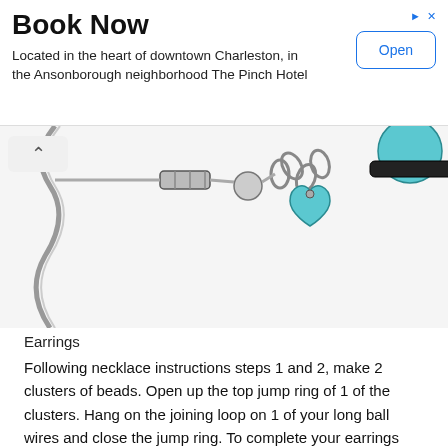[Figure (other): Advertisement banner: 'Book Now' with text 'Located in the heart of downtown Charleston, in the Ansonborough neighborhood The Pinch Hotel' and an 'Open' button.]
[Figure (illustration): Illustration showing jewelry making components: chain links, jump rings, blue heart-shaped and round charms, wire, and a bead connector assembly.]
Earrings
Following necklace instructions steps 1 and 2, make 2 clusters of beads. Open up the top jump ring of 1 of the clusters. Hang on the joining loop on 1 of your long ball wires and close the jump ring. To complete your earrings repeat with the remaining cluster on a 2nd long ball wire.